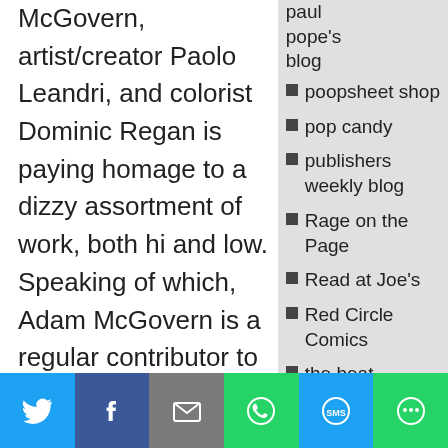McGovern, artist/creator Paolo Leandri, and colorist Dominic Regan is paying homage to a dizzy assortment of work, both hi and low. Speaking of which, Adam McGovern is a regular contributor to Hilowbrow, one of the web's leading voices
paul pope's blog
poopsheet shop
pop candy
publishers weekly blog
Rage on the Page
Read at Joe's
Red Circle Comics
the beat
the comics
[Figure (infographic): Social sharing bar with Twitter, Facebook, Email, WhatsApp, SMS, and More buttons]